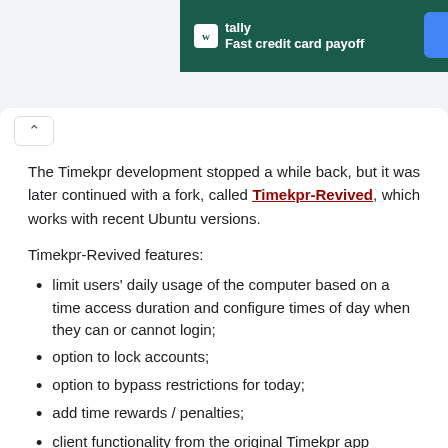[Figure (other): Tally app advertisement banner with dark green background, logo icon, text 'tally' and 'Fast credit card payoff', and blue button on right]
The Timekpr development stopped a while back, but it was later continued with a fork, called Timekpr-Revived, which works with recent Ubuntu versions.
Timekpr-Revived features:
limit users' daily usage of the computer based on a time access duration and configure times of day when they can or cannot login;
option to lock accounts;
option to bypass restrictions for today;
add time rewards / penalties;
client functionality from the original Timekpr app changed to better inform user about time he has left